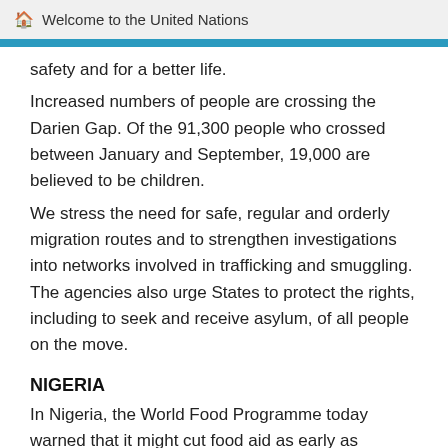Welcome to the United Nations
safety and for a better life.
Increased numbers of people are crossing the Darien Gap. Of the 91,300 people who crossed between January and September, 19,000 are believed to be children.
We stress the need for safe, regular and orderly migration routes and to strengthen investigations into networks involved in trafficking and smuggling. The agencies also urge States to protect the rights, including to seek and receive asylum, of all people on the move.
NIGERIA
In Nigeria, the World Food Programme today warned that it might cut food aid as early as